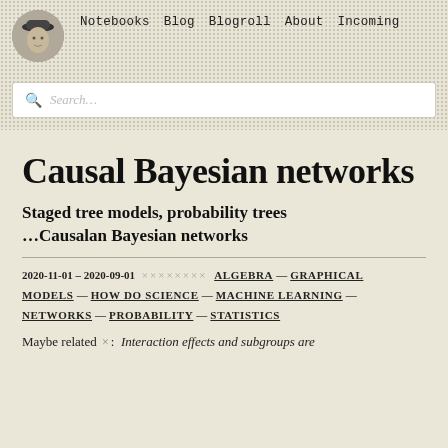Notebooks  Blog  Blogroll  About  Incoming Reading
[Figure (photo): Small circular avatar photo of a person wearing a cap, black and white or sepia toned]
Causal Bayesian networks
Staged tree models, probability trees ...Causalan Bayesian networks
2020-11-01 – 2020-09-01  ×××××××× ALGEBRA — GRAPHICAL MODELS — HOW DO SCIENCE — MACHINE LEARNING — NETWORKS — PROBABILITY — STATISTICS
Maybe related ×:  Interaction effects and subgroups are